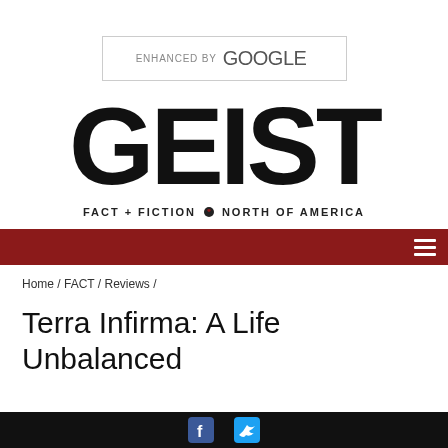[Figure (logo): ENHANCED BY Google search bar with border]
[Figure (logo): GEIST magazine logo with tagline FACT + FICTION NORTH of AMERICA]
Home / FACT / Reviews /
Terra Infirma: A Life Unbalanced
[Figure (logo): Facebook and Twitter social media icons in black footer bar]